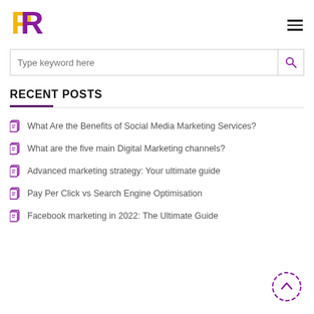[Figure (logo): PR logo with yellow and purple letters P and R]
Type keyword here
RECENT POSTS
What Are the Benefits of Social Media Marketing Services?
What are the five main Digital Marketing channels?
Advanced marketing strategy: Your ultimate guide
Pay Per Click vs Search Engine Optimisation
Facebook marketing in 2022: The Ultimate Guide